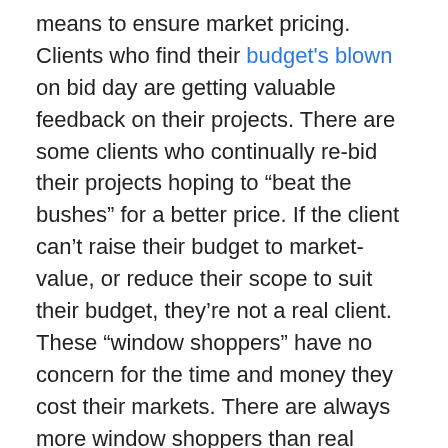means to ensure market pricing. Clients who find their budget's blown on bid day are getting valuable feedback on their projects. There are some clients who continually re-bid their projects hoping to “beat the bushes” for a better price. If the client can’t raise their budget to market-value, or reduce their scope to suit their budget, they’re not a real client. These “window shoppers” have no concern for the time and money they cost their markets. There are always more window shoppers than real clients, so estimators are well-advised to bid judiciously.
Some clients find themselves debating between two or more different addresses which require tenant improvement (TI). Metro areas often feature design firms that specialize in tenant planning for leasing negotiations. These firms specialize in drawing plans that facilitate conceptual pricing, but never lead to construction